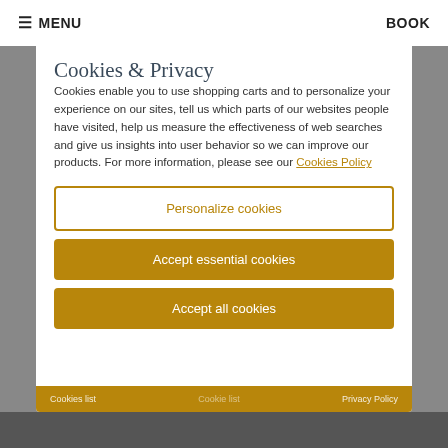≡ MENU    BOOK
Cookies & Privacy
Cookies enable you to use shopping carts and to personalize your experience on our sites, tell us which parts of our websites people have visited, help us measure the effectiveness of web searches and give us insights into user behavior so we can improve our products. For more information, please see our Cookies Policy
Personalize cookies
Accept essential cookies
Accept all cookies
Cookies list    Cookie list    Privacy Policy